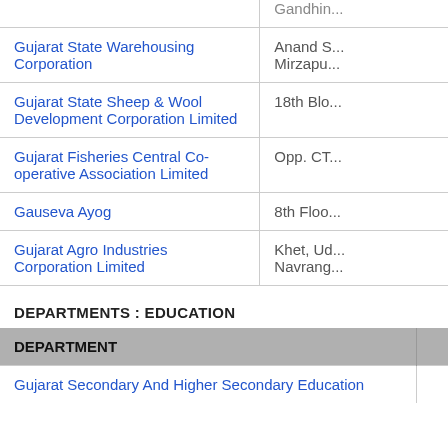|  |  |
| --- | --- |
| Gujarat State Warehousing Corporation | Anand S... Mirzapu... |
| Gujarat State Sheep & Wool Development Corporation Limited | 18th Blo... |
| Gujarat Fisheries Central Co-operative Association Limited | Opp. CT... |
| Gauseva Ayog | 8th Floo... |
| Gujarat Agro Industries Corporation Limited | Khet, Ud... Navrang... |
DEPARTMENTS : EDUCATION
| DEPARTMENT |  |
| --- | --- |
| Gujarat Secondary And Higher Secondary Education |  |